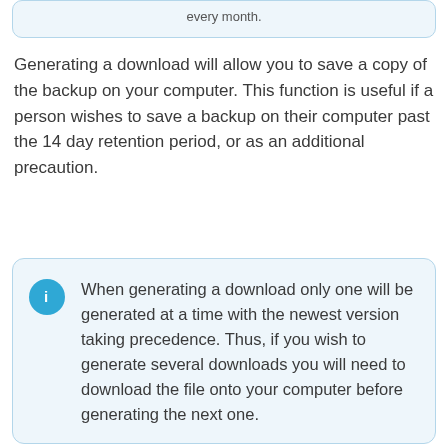every month.
Generating a download will allow you to save a copy of the backup on your computer. This function is useful if a person wishes to save a backup on their computer past the 14 day retention period, or as an additional precaution.
When generating a download only one will be generated at a time with the newest version taking precedence. Thus, if you wish to generate several downloads you will need to download the file onto your computer before generating the next one.